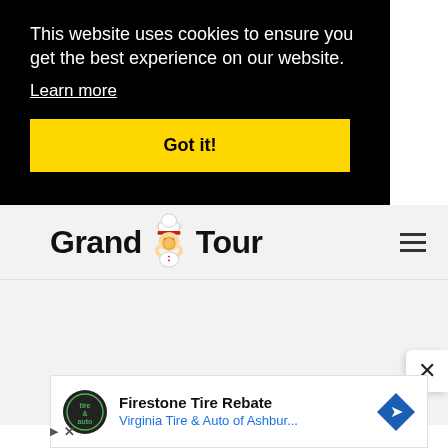This website uses cookies to ensure you get the best experience on our website.
Learn more
Got it!
[Figure (logo): Grand Tour logo with chef mascot between 'Grand' and 'Tour' in bold black text]
[Figure (infographic): Hamburger menu icon (three horizontal lines)]
[Figure (infographic): Close (X) button in white rounded rectangle]
[Figure (infographic): Advertisement banner: Firestone Tire Rebate - Virginia Tire & Auto of Ashbur... with circular Tire & Auto logo and blue diamond navigation icon]